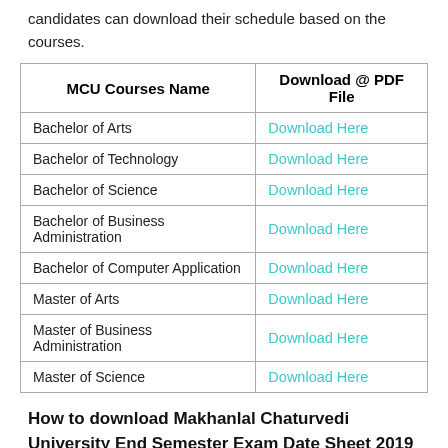candidates can download their schedule based on the courses.
| MCU Courses Name | Download @ PDF File |
| --- | --- |
| Bachelor of Arts | Download Here |
| Bachelor of Technology | Download Here |
| Bachelor of Science | Download Here |
| Bachelor of Business Administration | Download Here |
| Bachelor of Computer Application | Download Here |
| Master of Arts | Download Here |
| Master of Business Administration | Download Here |
| Master of Science | Download Here |
How to download Makhanlal Chaturvedi University End Semester Exam Date Sheet 2019